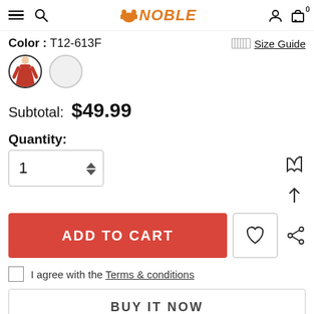NOBLE
Color : T12-613F
Size Guide
Subtotal: $49.99
Quantity:
1
ADD TO CART
I agree with the Terms & conditions
BUY IT NOW